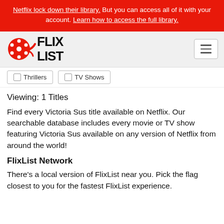Netflix lock down their library. But you can access all of it with your account. Learn how to access the full library.
[Figure (logo): FlixList logo with red film reel icon and bold FLIXLIST text]
Thrillers   TV Shows
Viewing: 1 Titles
Find every Victoria Sus title available on Netflix. Our searchable database includes every movie or TV show featuring Victoria Sus available on any version of Netflix from around the world!
FlixList Network
There's a local version of FlixList near you. Pick the flag closest to you for the fastest FlixList experience.